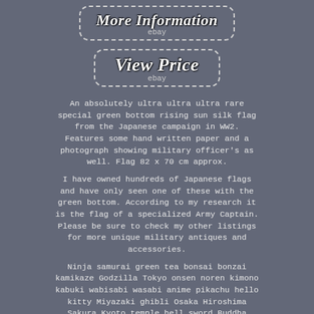[Figure (screenshot): eBay 'More Information' button with dashed border rounded rectangle]
[Figure (screenshot): eBay 'View Price' button with dashed border rounded rectangle]
An absolutely ultra ultra ultra rare special green bottom rising sun silk flag from the Japanese campaign in WW2. Features some hand written paper and a photograph showing military officer's as well. Flag 82 x 70 cm approx.
I have owned hundreds of Japanese flags and have only seen one of these with the green bottom. According to my research it is the flag of a specialized Army Captain. Please be sure to check my other listings for more unique military antiques and accessories.
Ninja samurai green tea bonsai bonzai kamikaze Godzilla Tokyo onsen noren kimono kabuki wabisabi wasabi anime pikachu hello kitty Miyazaki ghibli Osaka Hiroshima Sakura Kyoto temple bell sword Buddha